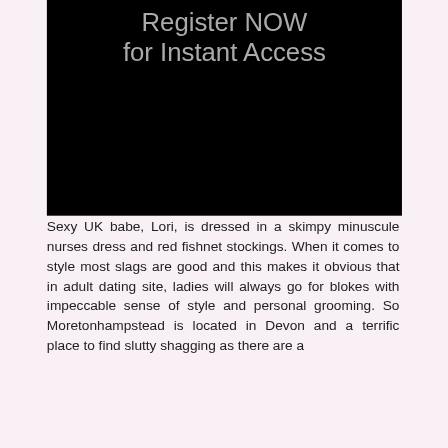[Figure (other): Black banner background with large grey text reading 'Register NOW for Instant Access']
Sexy UK babe, Lori, is dressed in a skimpy minuscule nurses dress and red fishnet stockings. When it comes to style most slags are good and this makes it obvious that in adult dating site, ladies will always go for blokes with impeccable sense of style and personal grooming. So Moretonhampstead is located in Devon and a terrific place to find slutty shagging as there are a